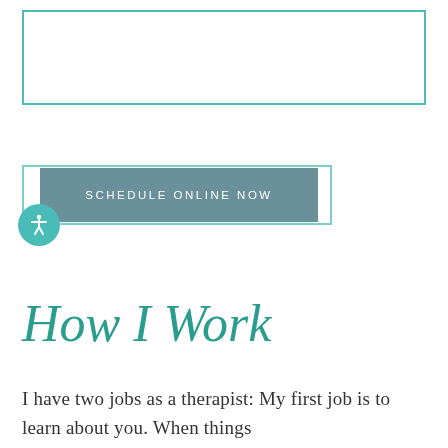[Figure (other): Empty teal-bordered rectangle at top of page]
[Figure (other): Schedule Online Now button with teal border outline and gray-teal filled button with white text, and a teal accessibility icon circle below-left]
How I Work
I have two jobs as a therapist: My first job is to learn about you. When things